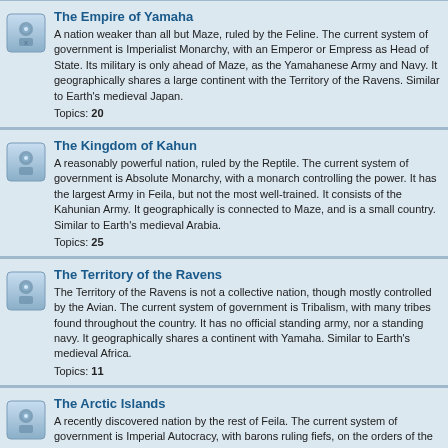The Empire of Yamaha
A nation weaker than all but Maze, ruled by the Feline. The current system of government is Imperialist Monarchy, with an Emperor or Empress as Head of State. Its military is only ahead of Maze, as the Yamahanese Army and Navy. It geographically shares a large continent with the Territory of the Ravens. Similar to Earth's medieval Japan.
Topics: 20
The Kingdom of Kahun
A reasonably powerful nation, ruled by the Reptile. The current system of government is Absolute Monarchy, with a monarch controlling the power. It has the largest Army in Feila, but not the most well-trained. It consists of the Kahunian Army. It geographically is connected to Maze, and is a small country. Similar to Earth's medieval Arabia.
Topics: 25
The Territory of the Ravens
The Territory of the Ravens is not a collective nation, though mostly controlled by the Avian. The current system of government is Tribalism, with many tribes found throughout the country. It has no official standing army, nor a standing navy. It geographically shares a continent with Yamaha. Similar to Earth's medieval Africa.
Topics: 11
The Arctic Islands
A recently discovered nation by the rest of Feila. The current system of government is Imperial Autocracy, with barons ruling fiefs, on the orders of the monarch. It has a standing army and navy known as the New Empire Forces (NEF). It is geographically a collection of five islands North of the Territory of the Ravens. There is only one season here and that is winter.
Topics: 29
Dimensional Break
A dimensional break that shatters time itself, and sends souls into other time periods of the world of Feila. Come here if you would like to role-play in non-medieval time periods of Feila. This is also where Feila's Twilight Zone dwells.